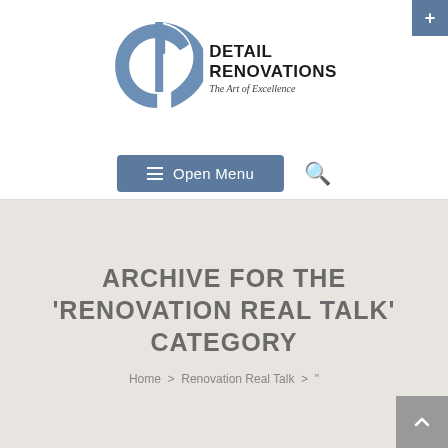[Figure (logo): Detail Renovations logo with stylized D letter mark in steel blue and the text DETAIL RENOVATIONS The Art of Excellence]
Open Menu
ARCHIVE FOR THE 'RENOVATION REAL TALK' CATEGORY
Home > Renovation Real Talk > "